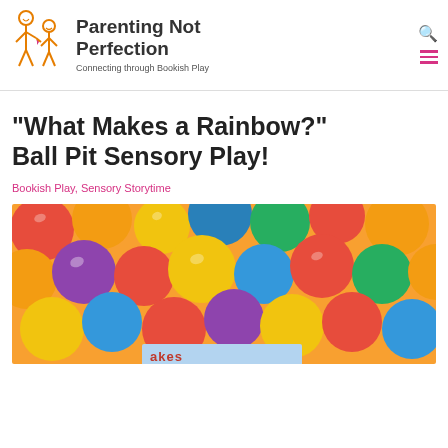Parenting Not Perfection — Connecting through Bookish Play
“What Makes a Rainbow?” Ball Pit Sensory Play!
Bookish Play, Sensory Storytime
[Figure (photo): Colorful plastic ball pit balls in red, yellow, orange, green, blue, and purple, with a partially visible sign reading 'Makes' at the bottom.]